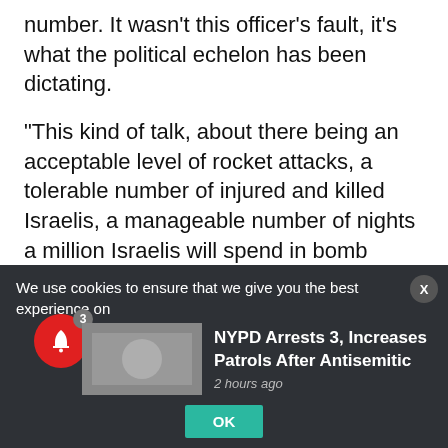number. It wasn't this officer's fault, it's what the political echelon has been dictating.
“This kind of talk, about there being an acceptable level of rocket attacks, a tolerable number of injured and killed Israelis, a manageable number of nights a million Israelis will spend in bomb shelters – it is only made possible by the existence of the Iron Dome.”
Advertisement
We use cookies to ensure that we give you the best experience on our website. If yo
NYPD Arrests 3, Increases Patrols After Antisemitic
2 hours ago
OK